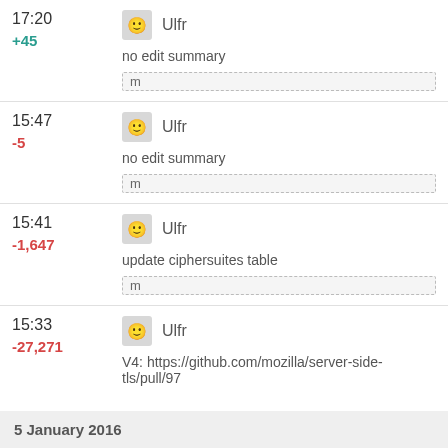17:20  +45  Ulfr  no edit summary  m
15:47  -5  Ulfr  no edit summary  m
15:41  -1,647  Ulfr  update ciphersuites table  m
15:33  -27,271  Ulfr  V4: https://github.com/mozilla/server-side-tls/pull/97
5 January 2016